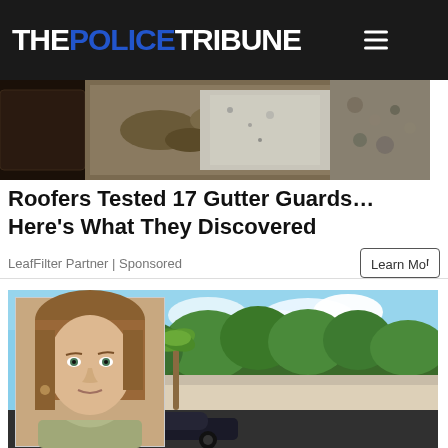THE POLICE TRIBUNE
[Figure (photo): Close-up photo of a dirty gutter with debris and grime]
Roofers Tested 17 Gutter Guards… Here's What They Discovered
LeafFilter Partner | Sponsored
[Figure (photo): Composite image: mugshot of a woman with brown hair inset over a photo of a house exterior with trees and blue sky, plus car in lower strip]